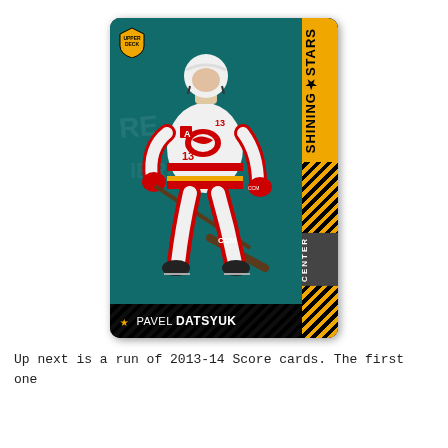[Figure (illustration): Upper Deck hockey trading card for Pavel Datsyuk, Detroit Red Wings, labeled 'Shining Stars'. Card shows player in white Red Wings jersey with 'A' (alternate captain) patch, skating with hockey stick. Card has teal background, yellow right band with 'SHINING STARS' text vertically, 'CENTER' label, diagonal black stripes at bottom, and gold star with player name 'PAVEL DATSYUK' at bottom.]
Up next is a run of 2013-14 Score cards. The first one